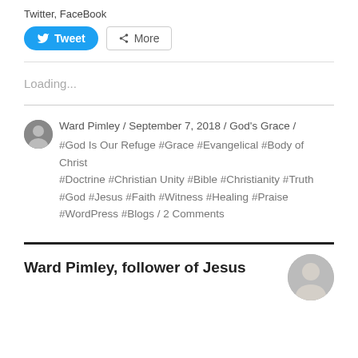Twitter, FaceBook
[Figure (other): Tweet button and More share button]
Loading...
Ward Pimley / September 7, 2018 / God's Grace / #God Is Our Refuge #Grace #Evangelical #Body of Christ #Doctrine #Christian Unity #Bible #Christianity #Truth #God #Jesus #Faith #Witness #Healing #Praise #WordPress #Blogs / 2 Comments
Ward Pimley, follower of Jesus